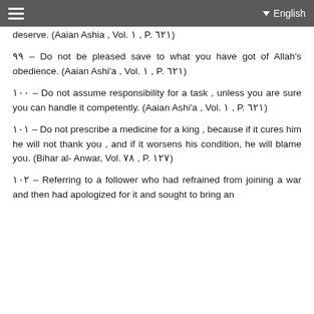English
deserve. (Aaian Ashia , Vol. ١ , P. ٦٢١)
٩٩ – Do not be pleased save to what you have got of Allah's obedience. (Aaian Ashi'a , Vol. ١ , P. ٦٢١)
١٠٠ – Do not assume responsibility for a task , unless you are sure you can handle it competently. (Aaian Ashi'a , Vol. ١ , P. ٦٢١)
١٠١ – Do not prescribe a medicine for a king , because if it cures him he will not thank you , and if it worsens his condition, he will blame you. (Bihar al- Anwar, Vol. ٧٨ , P. ١٢٧)
١٠٢ – Referring to a follower who had refrained from joining a war and then had apologized for it and sought to bring an